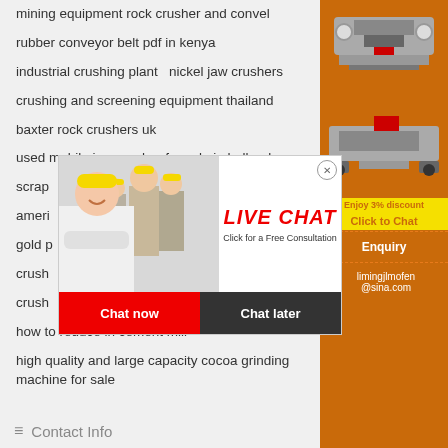mining equipment rock crusher and convel
rubber conveyor belt pdf in kenya
industrial crushing plant   nickel jaw crushers
crushing and screening equipment thailand
baxter rock crushers uk
used mobile jaw crusher for sale in holland
scrap [partially obscured]
ameri [partially obscured]
gold p [partially obscured]
crush [partially obscured]
crush [partially obscured]
how to reduce in cement mill
high quality and large capacity cocoa grinding machine for sale
[Figure (screenshot): Live chat popup with woman in hard hat, 'LIVE CHAT Click for a Free Consultation' text, Chat now and Chat later buttons]
[Figure (screenshot): Orange sidebar with mining machine images, Enjoy 3% discount, Click to Chat, Enquiry, limingjlmofen@sina.com]
Contact Info